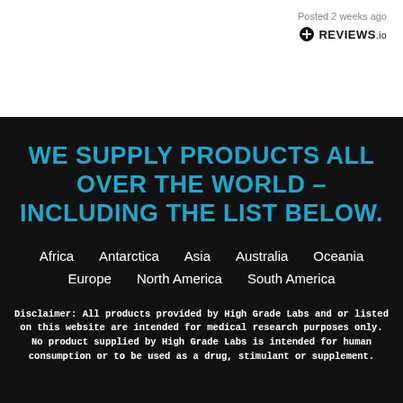Posted 2 weeks ago
[Figure (logo): REVIEWS.io logo with a plus/circle icon]
WE SUPPLY PRODUCTS ALL OVER THE WORLD – INCLUDING THE LIST BELOW.
Africa
Antarctica
Asia
Australia
Oceania
Europe
North America
South America
Disclaimer: All products provided by High Grade Labs and or listed on this website are intended for medical research purposes only.
No product supplied by High Grade Labs is intended for human consumption or to be used as a drug, stimulant or supplement.